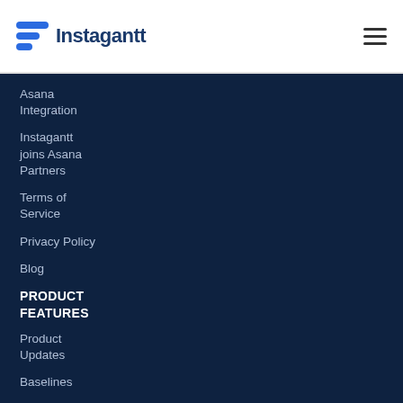Instagantt
Asana Integration
Instagantt joins Asana Partners
Terms of Service
Privacy Policy
Blog
PRODUCT FEATURES
Product Updates
Baselines
Task view
Notifications